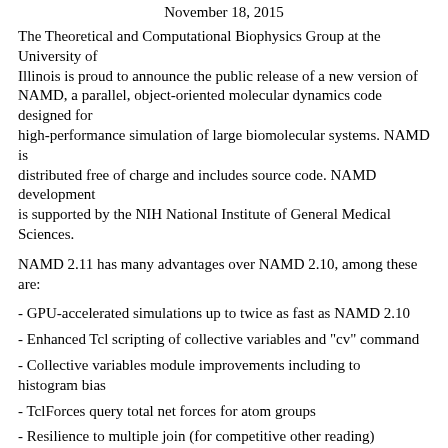November 18, 2015
The Theoretical and Computational Biophysics Group at the University of Illinois is proud to announce the public release of a new version of NAMD, a parallel, object-oriented molecular dynamics code designed for high-performance simulation of large biomolecular systems. NAMD is distributed free of charge and includes source code. NAMD development is supported by the NIH National Institute of General Medical Sciences.
NAMD 2.11 has many advantages over NAMD 2.10, among these are:
- GPU-accelerated simulations up to twice as fast as NAMD 2.10
- Enhanced Tcl scripting of collective variables and "cv" command
- Collective variables module improvements including to histogram bias
- TclForces query total net forces for atom groups
- Resilience to multiple join (for competitive other reading)